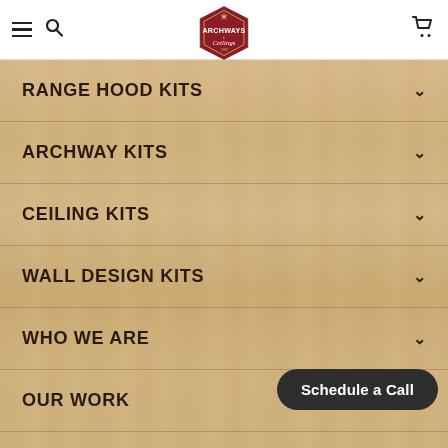Archways & Ceilings — Navigation Header
RANGE HOOD KITS
ARCHWAY KITS
CEILING KITS
WALL DESIGN KITS
WHO WE ARE
OUR WORK
SUPPORT
Schedule a Call